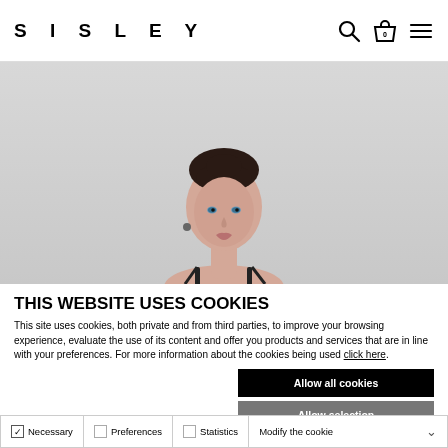SISLEY
[Figure (photo): Woman with dark hair in a bun, wearing a black strap top, photographed against a light gray/white background. Only the upper body is visible.]
THIS WEBSITE USES COOKIES
This site uses cookies, both private and from third parties, to improve your browsing experience, evaluate the use of its content and offer you products and services that are in line with your preferences. For more information about the cookies being used click here.
Allow all cookies
Allow selection
Continue without accepting
✓ Necessary  ☐ Preferences  ☐ Statistics  Modify the cookie ∨